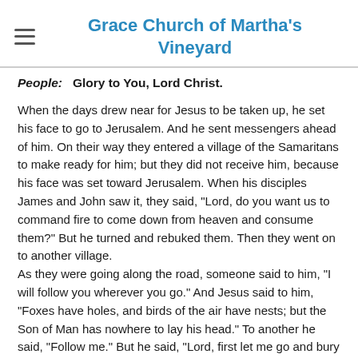Grace Church of Martha's Vineyard
People:   Glory to You, Lord Christ.
When the days drew near for Jesus to be taken up, he set his face to go to Jerusalem. And he sent messengers ahead of him. On their way they entered a village of the Samaritans to make ready for him; but they did not receive him, because his face was set toward Jerusalem. When his disciples James and John saw it, they said, "Lord, do you want us to command fire to come down from heaven and consume them?" But he turned and rebuked them. Then they went on to another village.
As they were going along the road, someone said to him, "I will follow you wherever you go." And Jesus said to him, "Foxes have holes, and birds of the air have nests; but the Son of Man has nowhere to lay his head." To another he said, "Follow me." But he said, "Lord, first let me go and bury my father." But Jesus said to